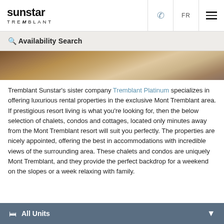sunstar TREMBLANT
[Figure (screenshot): Navigation bar with phone icon, FR language toggle, and hamburger menu icon]
[Figure (photo): Partial photo showing cozy interior with cushions/pillows in warm tones]
Tremblant Sunstar's sister company Tremblant Platinum specializes in offering luxurious rental properties in the exclusive Mont Tremblant area. If prestigious resort living is what you're looking for, then the below selection of chalets, condos and cottages, located only minutes away from the Mont Tremblant resort will suit you perfectly. The properties are nicely appointed, offering the best in accommodations with incredible views of the surrounding area. These chalets and condos are uniquely Mont Tremblant, and they provide the perfect backdrop for a weekend on the slopes or a week relaxing with family.
All Units